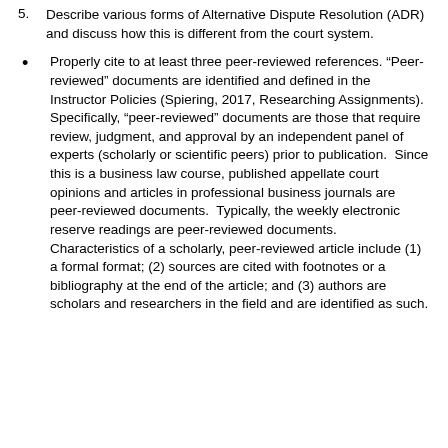5. Describe various forms of Alternative Dispute Resolution (ADR) and discuss how this is different from the court system.
Properly cite to at least three peer-reviewed references. "Peer-reviewed" documents are identified and defined in the Instructor Policies (Spiering, 2017, Researching Assignments). Specifically, "peer-reviewed" documents are those that require review, judgment, and approval by an independent panel of experts (scholarly or scientific peers) prior to publication. Since this is a business law course, published appellate court opinions and articles in professional business journals are peer-reviewed documents. Typically, the weekly electronic reserve readings are peer-reviewed documents. Characteristics of a scholarly, peer-reviewed article include (1) a formal format; (2) sources are cited with footnotes or a bibliography at the end of the article; and (3) authors are scholars and researchers in the field and are identified as such.